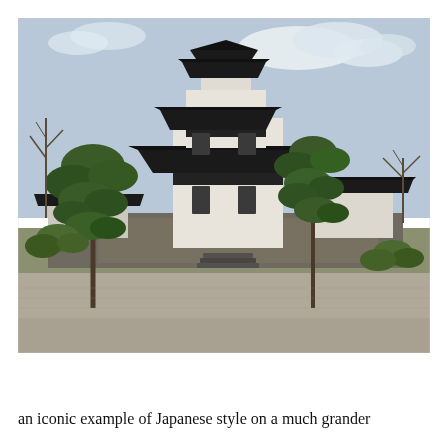[Figure (photo): Photograph of a traditional Japanese castle (white-walled, multi-tiered dark tiled roofs) surrounded by Japanese pine trees and ornamental garden shrubs, with a raked gravel courtyard in the foreground and a partly cloudy sky in the background.]
an iconic example of Japanese style on a much grander